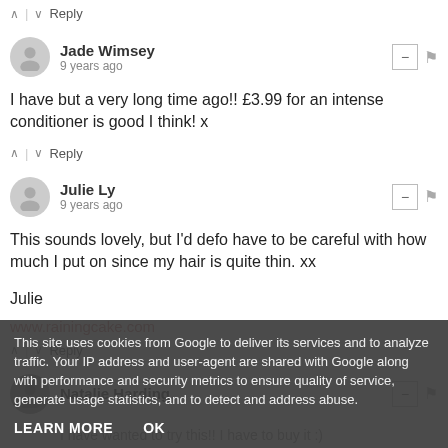↑ | ↓ Reply
Jade Wimsey
9 years ago
I have but a very long time ago!! £3.99 for an intense conditioner is good I think! x
↑ | ↓ Reply
Julie Ly
9 years ago
This sounds lovely, but I'd defo have to be careful with how much I put on since my hair is quite thin. xx

Julie
www.rainingcake.com
↑ | ↓ Reply
Natalie Harding
I have wanted to try this!! I have to buy it :)
http://aloveaffairwithbl...
This site uses cookies from Google to deliver its services and to analyze traffic. Your IP address and user-agent are shared with Google along with performance and security metrics to ensure quality of service, generate usage statistics, and to detect and address abuse.
LEARN MORE   OK